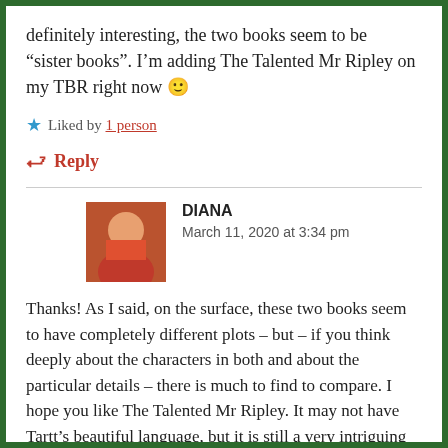definitely interesting, the two books seem to be “sister books”. I’m adding The Talented Mr Ripley on my TBR right now 🙂
★ Liked by 1 person
⮐ Reply
DIANA
March 11, 2020 at 3:34 pm
Thanks! As I said, on the surface, these two books seem to have completely different plots – but – if you think deeply about the characters in both and about the particular details – there is much to find to compare. I hope you like The Talented Mr Ripley. It may not have Tartt’s beautiful language, but it is still a very intriguing and brainy crime